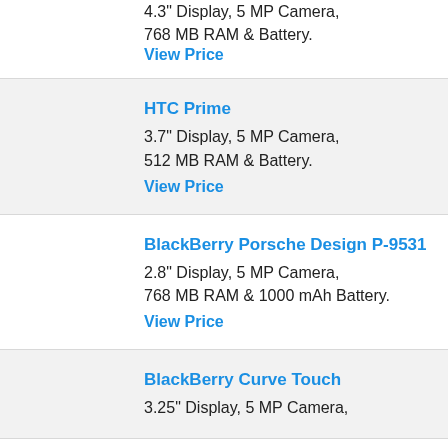4.3" Display, 5 MP Camera, 768 MB RAM & Battery.
View Price
HTC Prime
3.7" Display, 5 MP Camera, 512 MB RAM & Battery.
View Price
BlackBerry Porsche Design P-9531
2.8" Display, 5 MP Camera, 768 MB RAM & 1000 mAh Battery.
View Price
BlackBerry Curve Touch
3.25" Display, 5 MP Camera,